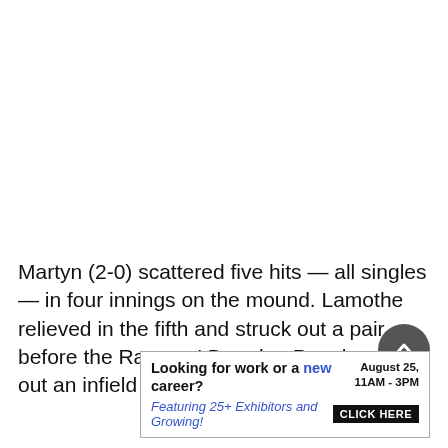Martyn (2-0) scattered five hits — all singles — in four innings on the mound. Lamothe relieved in the fifth and struck out a pair before the Rangers' Brandon Proc legged out an infield single.
[Figure (other): Advertisement: 'Looking for work or a new career? August 25, 11AM - 3PM. Featuring 25+ Exhibitors and Growing! CLICK HERE']